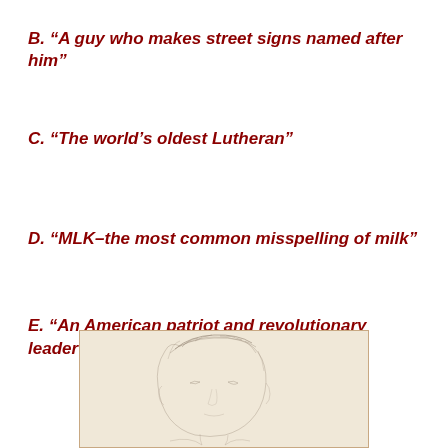B.  “A guy who makes street signs named after him”
C.  “The world’s oldest Lutheran”
D.  “MLK–the most common misspelling of milk”
E.  “An American patriot and revolutionary leader in civil rights”
[Figure (illustration): Pencil sketch portrait of a person, lightly drawn on cream/tan background, within a bordered frame]